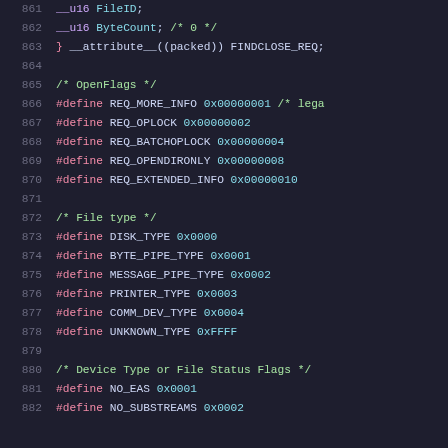Source code listing, lines 861-882, C header file with struct fields and #define macros for SMB/CIFS protocol constants including OpenFlags and File type definitions.